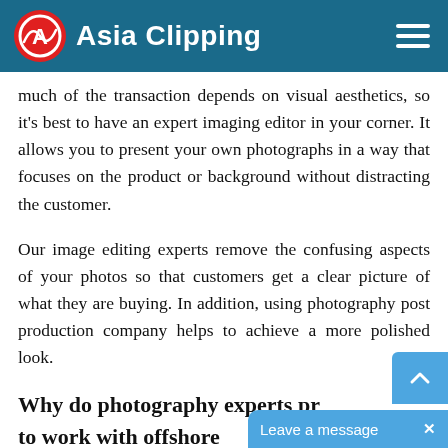Asia Clipping
much of the transaction depends on visual aesthetics, so it's best to have an expert imaging editor in your corner. It allows you to present your own photographs in a way that focuses on the product or background without distracting the customer.
Our image editing experts remove the confusing aspects of your photos so that customers get a clear picture of what they are buying. In addition, using photography post production company helps to achieve a more polished look.
Why do photography experts prefer to work with offshore